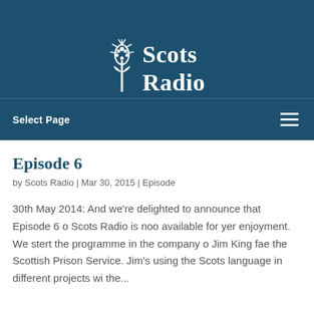[Figure (logo): Scots Radio logo with thistle icon and white text on dark blue background]
Select Page
Episode 6
by Scots Radio | Mar 30, 2015 | Episode
30th May 2014: And we're delighted to announce that Episode 6 o Scots Radio is noo available for yer enjoyment. We stert the programme in the company o Jim King fae the Scottish Prison Service. Jim's using the Scots language in different projects wi the...